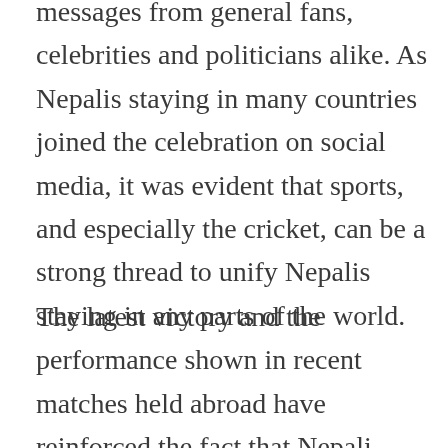messages from general fans, celebrities and politicians alike. As Nepalis staying in many countries joined the celebration on social media, it was evident that sports, and especially the cricket, can be a strong thread to unify Nepalis staying in any parts of the world.
The latest victory and the performance shown in recent matches held abroad have reinforced the fact that Nepali players have grown much mature to perform in matches played even outside the country. The fact that Nepal beat